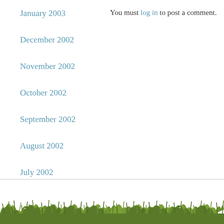January 2003
December 2002
November 2002
October 2002
September 2002
August 2002
July 2002
June 2002
May 2002
April 2002
March 2002
You must log in to post a comment.
[Figure (photo): Grass along the bottom of the page, a decorative banner of green grass against a white background.]